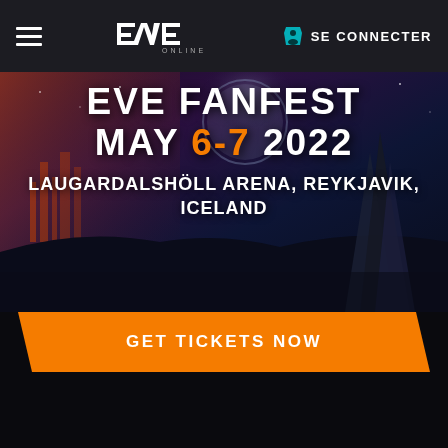EVE ONLINE | SE CONNECTER
[Figure (screenshot): EVE Fanfest event banner with sci-fi landscape background. Shows text: EVE FANFEST MAY 6-7 2022, LAUGARDALSHÖLL ARENA, REYKJAVIK, ICELAND]
EVE FANFEST MAY 6-7 2022
LAUGARDALSHÖLL ARENA, REYKJAVIK, ICELAND
GET TICKETS NOW